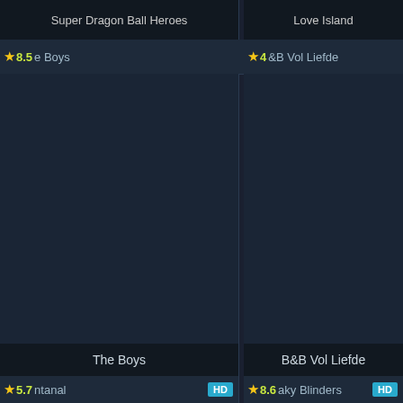Super Dragon Ball Heroes
Love Island
★ 8.5 e Boys HD
★ 4 &B Vol Liefde HD
[Figure (screenshot): Dark streaming app card for The Boys]
[Figure (screenshot): Dark streaming app card for B&B Vol Liefde]
The Boys
B&B Vol Liefde
★ 5.7 ntanal HD
★ 8.6 aky Blinders HD